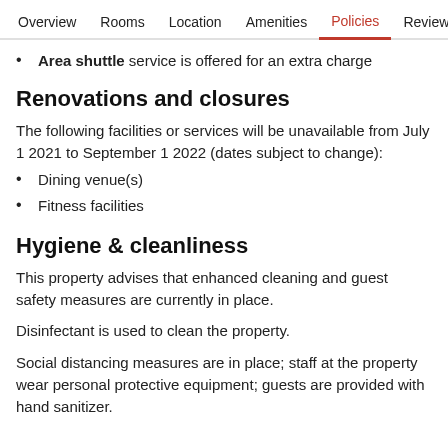Overview  Rooms  Location  Amenities  Policies  Reviews
Area shuttle service is offered for an extra charge
Renovations and closures
The following facilities or services will be unavailable from July 1 2021 to September 1 2022 (dates subject to change):
Dining venue(s)
Fitness facilities
Hygiene & cleanliness
This property advises that enhanced cleaning and guest safety measures are currently in place.
Disinfectant is used to clean the property.
Social distancing measures are in place; staff at the property wear personal protective equipment; guests are provided with hand sanitizer.